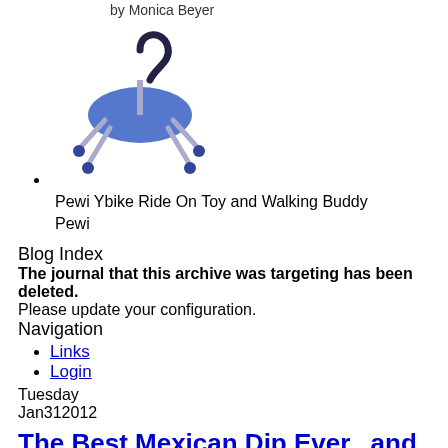by Monica Beyer
[Figure (illustration): Blue cartoon Pewi Ybike ride-on toy illustration]
Pewi Ybike Ride On Toy and Walking Buddy Pewi
Blog Index
The journal that this archive was targeting has been deleted.
Please update your configuration.
Navigation
Links
Login
Tuesday
Jan312012
The Best Mexican Dip Ever...and some Superbowl Thoughts.
Tuesday, January 31, 2012 at 12:05AM in MomMe's Recipes by Rachel